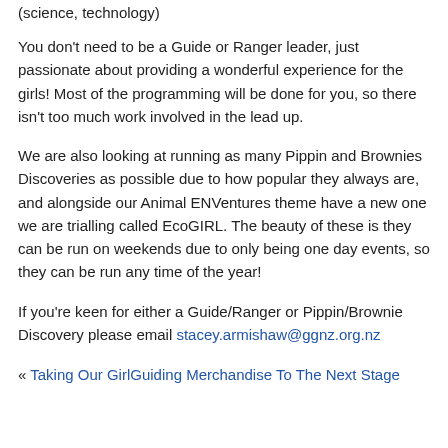(science, technology)
You don't need to be a Guide or Ranger leader, just passionate about providing a wonderful experience for the girls! Most of the programming will be done for you, so there isn't too much work involved in the lead up.
We are also looking at running as many Pippin and Brownies Discoveries as possible due to how popular they always are, and alongside our Animal ENVentures theme have a new one we are trialling called EcoGIRL. The beauty of these is they can be run on weekends due to only being one day events, so they can be run any time of the year!
If you're keen for either a Guide/Ranger or Pippin/Brownie Discovery please email stacey.armishaw@ggnz.org.nz
« Taking Our GirlGuiding Merchandise To The Next Stage